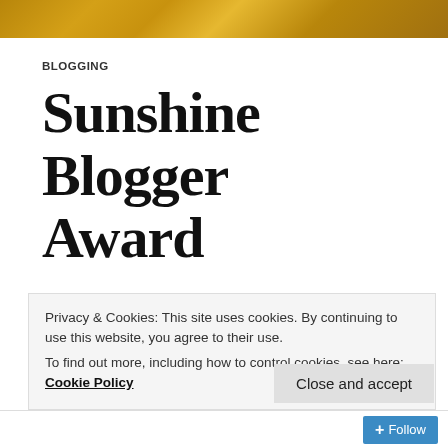[Figure (photo): Golden/brown decorative header image with floral or ornamental pattern]
BLOGGING
Sunshine Blogger Award
Thanks to Floatinggold who kindly nominated me. What a lovely surprise! If you don't know it Floatinggold's blog offers opinion pieces, creative
Privacy & Cookies: This site uses cookies. By continuing to use this website, you agree to their use.
To find out more, including how to control cookies, see here: Cookie Policy
Close and accept